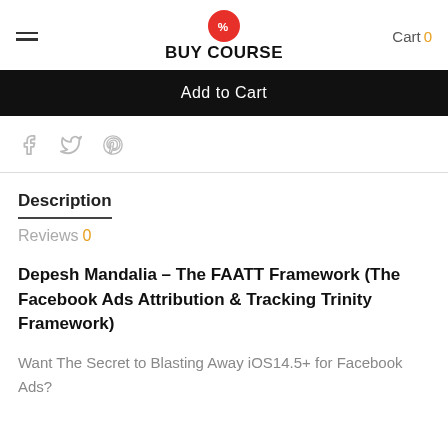BUY COURSE  Cart 0
Add to Cart
[Figure (illustration): Social sharing icons: Facebook (f), Twitter (bird), Pinterest (p)]
Description
Reviews 0
Depesh Mandalia – The FAATT Framework (The Facebook Ads Attribution & Tracking Trinity Framework)
Want The Secret to Blasting Away iOS14.5+ for Facebook Ads?